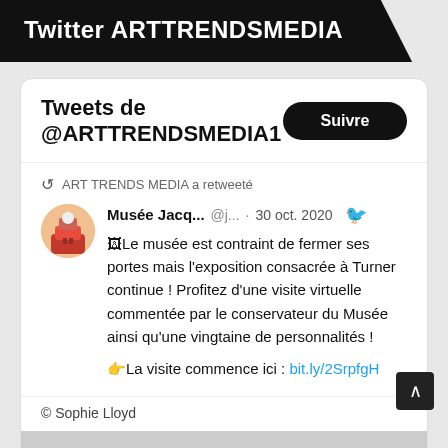Twitter ARTTRENDSMEDIA
Tweets de @ARTTRENDSMEDIA1
ART TRENDS MEDIA a retweeté
Musée Jacq...  @j...  · 30 oct. 2020
🖼Le musée est contraint de fermer ses portes mais l'exposition consacrée à Turner continue ! Profitez d'une visite virtuelle commentée par le conservateur du Musée ainsi qu'une vingtaine de personnalités !
👉La visite commence ici : bit.ly/2SrpfgH
© Sophie Lloyd